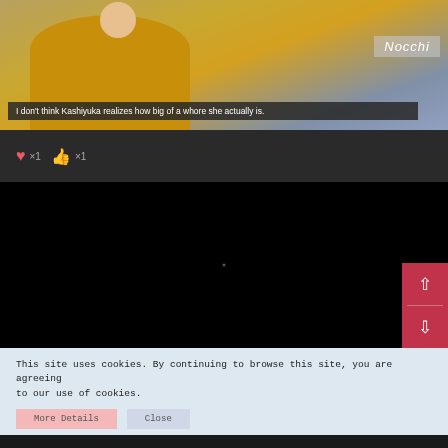[Figure (screenshot): Video thumbnail showing a person in a yellow/mustard top against a blue-grey background, with a name label 'Nocchi' in the upper right and a subtitle bar reading: I don't think Kashiyuka realizes how big of a whore she actually is]
❤ x1  👍 x1
[Figure (screenshot): Black/empty video player area with a red scroll navigation widget (up/down chevrons) in the lower right corner]
This site uses cookies. By continuing to browse this site, you are agreeing to our use of cookies.
More Details   Close